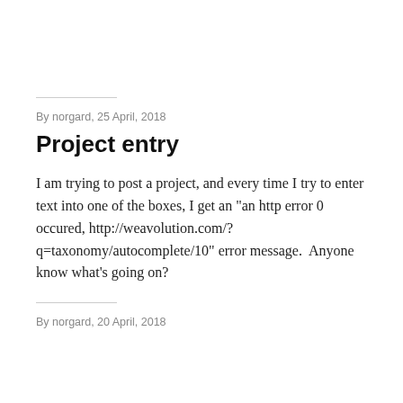By norgard, 25 April, 2018
Project entry
I am trying to post a project, and every time I try to enter text into one of the boxes, I get an "an http error 0 occured, http://weavolution.com/?q=taxonomy/autocomplete/10" error message.  Anyone know what's going on?
By norgard, 20 April, 2018